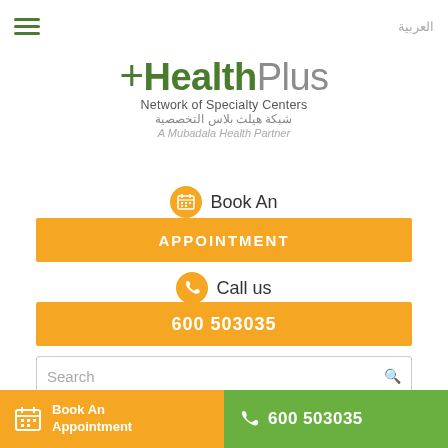[Figure (logo): HealthPlus Network of Specialty Centers logo — green plus sign and Health in green, Plus in grey, subtitle Network of Specialty Centers, Arabic text, A Mubadala Health Partner]
Book An
APPOINTMENT
Call us
600 503035
Search
[Figure (photo): Photo of medical staff in white uniforms standing, cropped at lower body/feet level]
Book An Appointment
600 503035